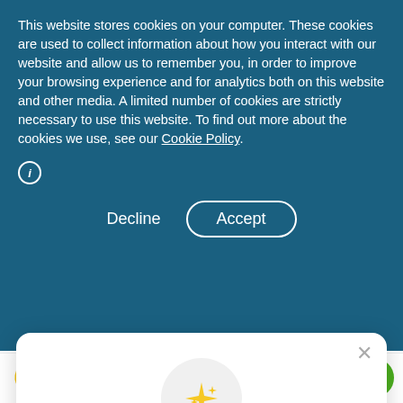This website stores cookies on your computer. These cookies are used to collect information about how you interact with our website and allow us to remember you, in order to improve your browsing experience and for analytics both on this website and other media. A limited number of cookies are strictly necessary to use this website. To find out more about the cookies we use, see our Cookie Policy.
Decline  Accept
**Daily Value (DV) not established
[Figure (illustration): Gold sparkle/star icon inside a light grey circle]
Unlock exclusive rewards and perks
Sign up or Log in
Sign up
Already have an account? Sign in
MECOBALACTIVE® is a registered